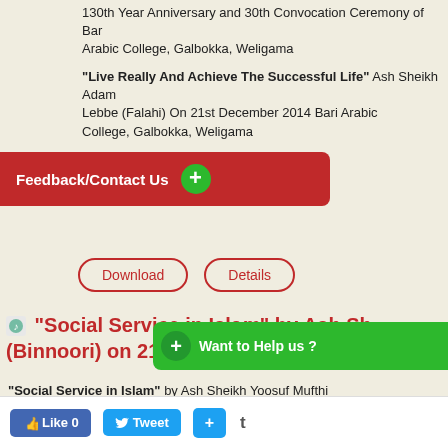130th Year Anniversary and 30th Convocation Ceremony of Bari Arabic College, Galbokka, Weligama
"Live Really And Achieve The Successful Life" Ash Sheikh Adam Lebbe (Falahi) On 21st December 2014 Bari Arabic College, Galbokka, Weligama
[Figure (screenshot): Feedback/Contact Us button bar in red with green plus circle]
[Figure (screenshot): Download and Details buttons with rounded red borders]
[Figure (screenshot): Want to Help us? green button with plus circle]
"Social Service in Islam" by Ash Sheikh Yoosuf Mufthi (Binnoori) on 21st December 2014
"Social Service in Islam" by Ash Sheikh Yoosuf Mufthi (Biinnoori) on 06th June 2014 at Badr Jumu'ah Masjid, Dengedara, Galle.
[Figure (screenshot): Social media buttons: Like 0, Tweet, + and t at the bottom]